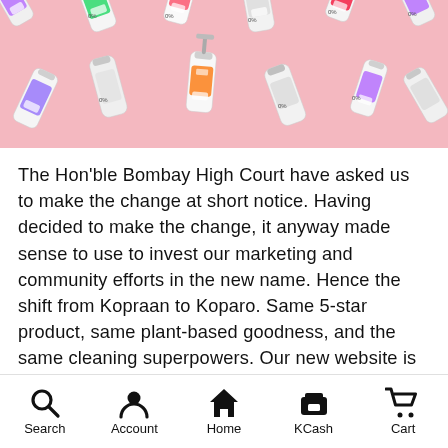[Figure (photo): Product photo: multiple Koparo/Kopraan white plastic bottles with colorful labels scattered on a pink background]
The Hon'ble Bombay High Court have asked us to make the change at short notice. Having decided to make the change, it anyway made sense to use to invest our marketing and community efforts in the new name. Hence the shift from Kopraan to Koparo. Same 5-star product, same plant-based goodness, and the same cleaning superpowers. Our new website is koparoclean.com and our handles are @koparo.clean on Instagram and @koparo clean on Facebook.
Search  Account  Home  KCash  Cart